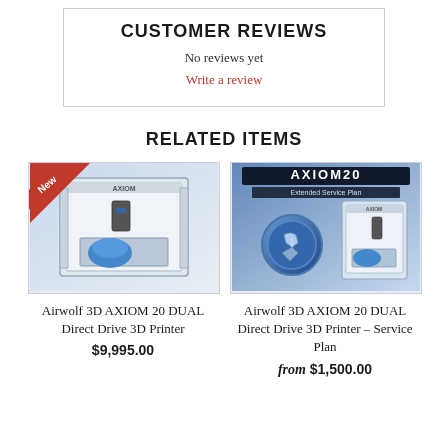CUSTOMER REVIEWS
No reviews yet
Write a review
RELATED ITEMS
[Figure (photo): Product photo of Airwolf 3D AXIOM 20 DUAL Direct Drive 3D Printer with 'New' badge in corner]
Airwolf 3D AXIOM 20 DUAL Direct Drive 3D Printer
$9,995.00
[Figure (photo): Product photo of Airwolf 3D AXIOM 20 DUAL Direct Drive 3D Printer - Service Plan with AXIOM 20 Extended Service Plan branding]
Airwolf 3D AXIOM 20 DUAL Direct Drive 3D Printer - Service Plan
from $1,500.00